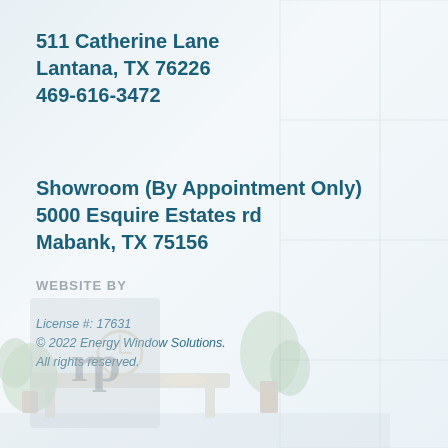511 Catherine Lane
Lantana, TX 76226
469-616-3472
Showroom (By Appointment Only)
5000 Esquire Estates rd
Mabank, TX 75156
License #: 17631
© 2022 Energy Window Solutions.
All rights reserved.
WEBSITE BY
[Figure (logo): rp logo mark in grey box at bottom left]